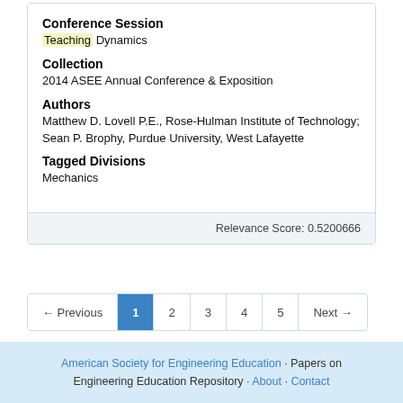Conference Session
Teaching  Dynamics
Collection
2014 ASEE Annual Conference & Exposition
Authors
Matthew D. Lovell P.E., Rose-Hulman Institute of Technology; Sean P. Brophy, Purdue University, West Lafayette
Tagged Divisions
Mechanics
Relevance Score: 0.5200666
American Society for Engineering Education · Papers on Engineering Education Repository · About · Contact